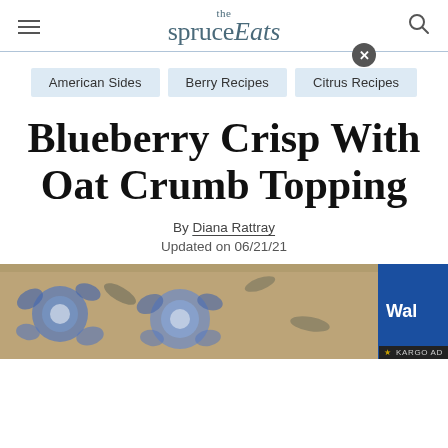the spruce Eats
American Sides
Berry Recipes
Citrus Recipes
Blueberry Crisp With Oat Crumb Topping
By Diana Rattray
Updated on 06/21/21
[Figure (photo): Partial photo of a blue and white floral patterned dish with blueberry crisp, visible at the bottom of the page. An advertisement overlay appears on the right side showing 'Wal' text in white on a blue background with a KARGO AD badge.]